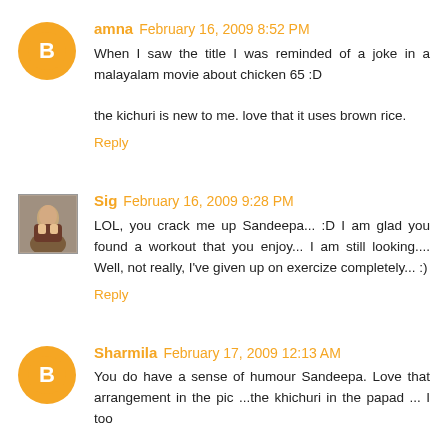amna February 16, 2009 8:52 PM
When I saw the title I was reminded of a joke in a malayalam movie about chicken 65 :D

the kichuri is new to me. love that it uses brown rice.
Reply
Sig February 16, 2009 9:28 PM
LOL, you crack me up Sandeepa... :D I am glad you found a workout that you enjoy... I am still looking.... Well, not really, I've given up on exercize completely... :)
Reply
Sharmila February 17, 2009 12:13 AM
You do have a sense of humour Sandeepa. Love that arrangement in the pic ...the khichuri in the papad ... I too